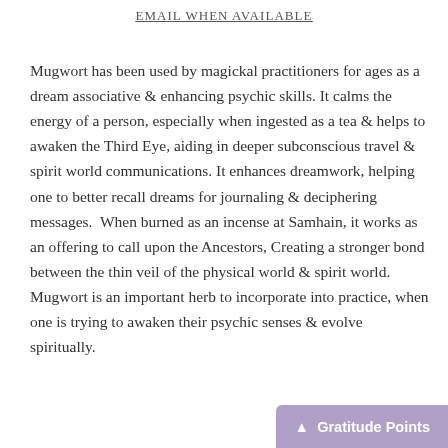EMAIL WHEN AVAILABLE
Mugwort has been used by magickal practitioners for ages as a dream associative & enhancing psychic skills. It calms the energy of a person, especially when ingested as a tea & helps to awaken the Third Eye, aiding in deeper subconscious travel & spirit world communications. It enhances dreamwork, helping one to better recall dreams for journaling & deciphering messages.  When burned as an incense at Samhain, it works as an offering to call upon the Ancestors, Creating a stronger bond between the thin veil of the physical world & spirit world. Mugwort is an important herb to incorporate into practice, when one is trying to awaken their psychic senses & evolve spiritually.
Gratitude Points